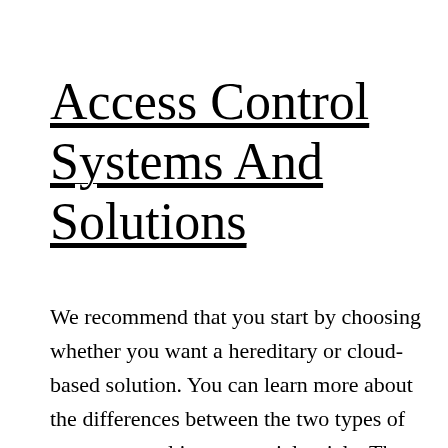Access Control Systems And Solutions
We recommend that you start by choosing whether you want a hereditary or cloud-based solution. You can learn more about the differences between the two types of access control in our special article. The role-based security model is